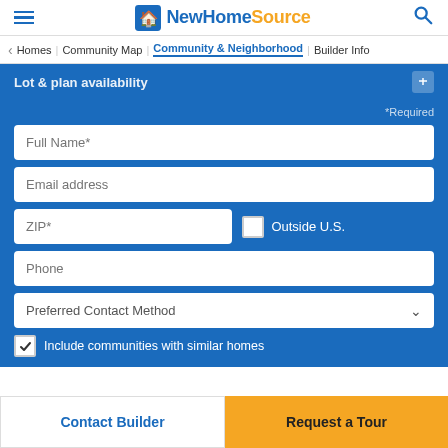NewHomeSource
Community & Neighborhood
Lot & plan availability
*Required
Full Name*
Email address
ZIP*
Outside U.S.
Phone
Preferred Contact Method
Include communities with similar homes
Contact Builder
Request a Tour